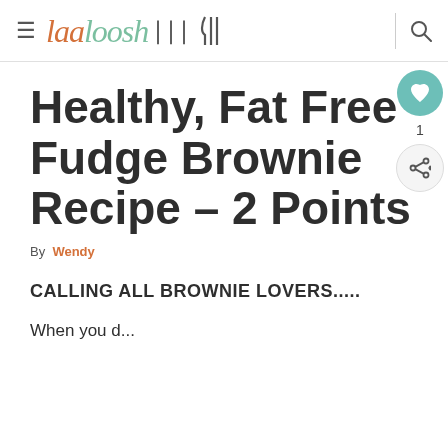laaloosh
Healthy, Fat Free Fudge Brownie Recipe – 2 Points
By Wendy
CALLING ALL BROWNIE LOVERS.....
When you d...